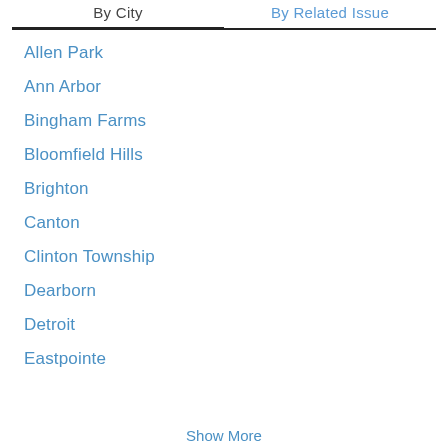By City | By Related Issue
Allen Park
Ann Arbor
Bingham Farms
Bloomfield Hills
Brighton
Canton
Clinton Township
Dearborn
Detroit
Eastpointe
Show More